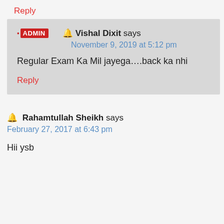Reply
ADMIN  🔔 Vishal Dixit says
November 9, 2019 at 5:12 pm
Regular Exam Ka Mil jayega....back ka nhi
Reply
🔔 Rahamtullah Sheikh says
February 27, 2017 at 6:43 pm
Hii ysb